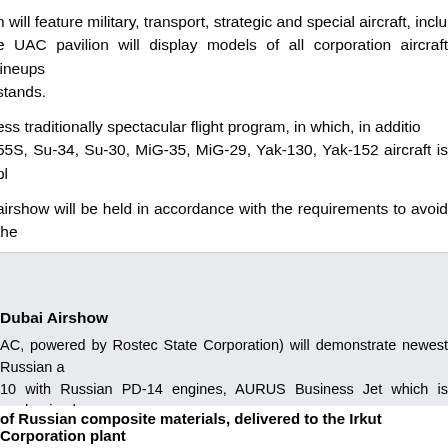n will feature military, transport, strategic and special aircraft, includ e UAC pavilion will display models of all corporation aircraft lineups stands.
ess traditionally spectacular flight program, in which, in addition 55S, Su-34, Su-30, MiG-35, MiG-29, Yak-130, Yak-152 aircraft is pla
airshow will be held in accordance with the requirements to avoid the
Dubai Airshow
AC, powered by Rostec State Corporation) will demonstrate newest Russian a 10 with Russian PD-14 engines, AURUS Business Jet which is modernized v ototype of a light tactical aircraft Checkmate.
of Russian composite materials, delivered to the Irkut Corporation plant